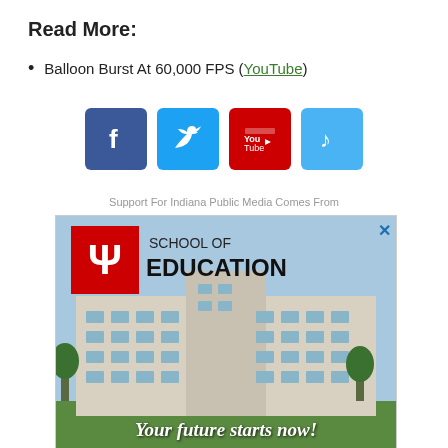Read More:
Balloon Burst At 60,000 FPS (YouTube)
[Figure (infographic): Social media icons: Facebook (blue), Twitter (light blue), YouTube (red), Music note (light blue)]
Support For Indiana Public Media Comes From
[Figure (photo): Indiana University School of Education advertisement showing a modern university building with text 'SCHOOL OF EDUCATION' and tagline 'Your future starts now!']